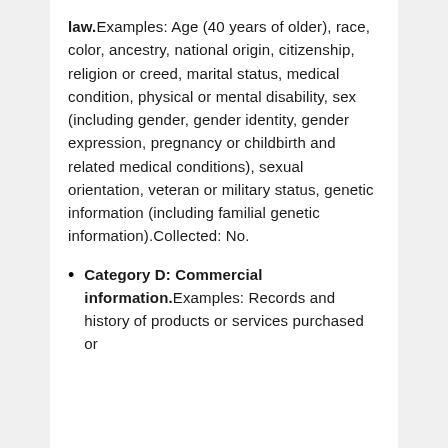law. Examples: Age (40 years or older), race, color, ancestry, national origin, citizenship, religion or creed, marital status, medical condition, physical or mental disability, sex (including gender, gender identity, gender expression, pregnancy or childbirth and related medical conditions), sexual orientation, veteran or military status, genetic information (including familial genetic information). Collected: No.
Category D: Commercial information. Examples: Records and history of products or services purchased or